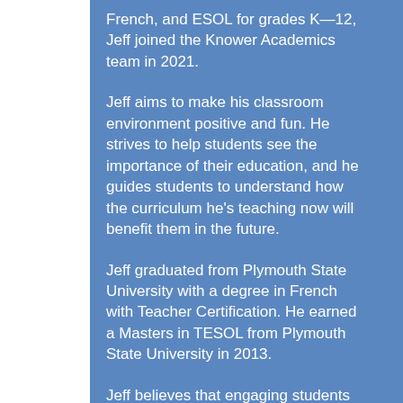French, and ESOL for grades K—12, Jeff joined the Knower Academics team in 2021.
Jeff aims to make his classroom environment positive and fun. He strives to help students see the importance of their education, and he guides students to understand how the curriculum he's teaching now will benefit them in the future.
Jeff graduated from Plymouth State University with a degree in French with Teacher Certification. He earned a Masters in TESOL from Plymouth State University in 2013.
Jeff believes that engaging students through different role-play situations & games creates the best results for academic